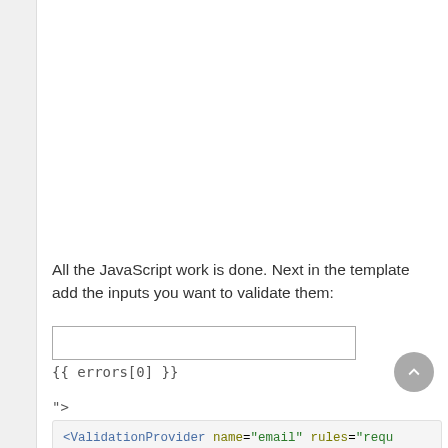All the JavaScript work is done. Next in the template add the inputs you want to validate them:
[Figure (screenshot): An empty text input box rendered in a form]
{{ errors[0] }}
">
<ValidationProvider name="email" rules="requ
  <div slot-scope="{ errors }">